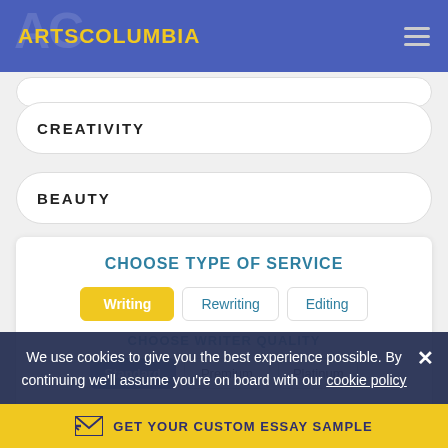ARTSCOLUMBIA
CREATIVITY
BEAUTY
CHOOSE TYPE OF SERVICE
Writing	Rewriting	Editing
CHOOSE WRITER QUALITY
Standard	Premium	Platinum
We use cookies to give you the best experience possible. By continuing we'll assume you're on board with our cookie policy
GET YOUR CUSTOM ESSAY SAMPLE